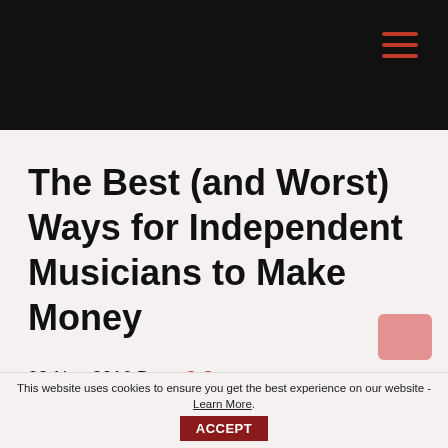The Best (and Worst) Ways for Independent Musicians to Make Money
03-Nov-2016 By — 8 Comments
This website uses cookies to ensure you get the best experience on our website - Learn More. ACCEPT